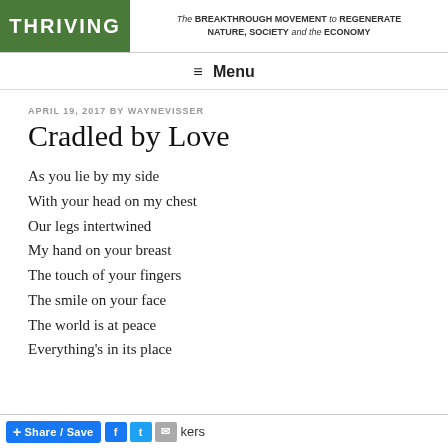THRIVING | The BREAKTHROUGH MOVEMENT to REGENERATE NATURE, SOCIETY and the ECONOMY
≡ Menu
APRIL 19, 2017 BY WAYNEVISSER
Cradled by Love
As you lie by my side
With your head on my chest
Our legs intertwined
My hand on your breast
The touch of your fingers
The smile on your face
The world is at peace
Everything's in its place
Share / Save | buttons